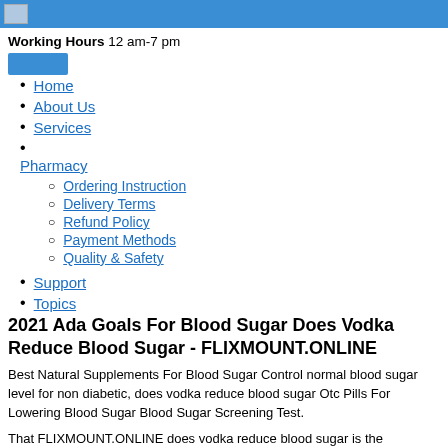Working Hours 12 am-7 pm
Home
About Us
Services
Pharmacy
Ordering Instruction
Delivery Terms
Refund Policy
Payment Methods
Quality & Safety
Support
Topics
2021 Ada Goals For Blood Sugar Does Vodka Reduce Blood Sugar - FLIXMOUNT.ONLINE
Best Natural Supplements For Blood Sugar Control normal blood sugar level for non diabetic, does vodka reduce blood sugar Otc Pills For Lowering Blood Sugar Blood Sugar Screening Test.
That FLIXMOUNT.ONLINE does vodka reduce blood sugar is the